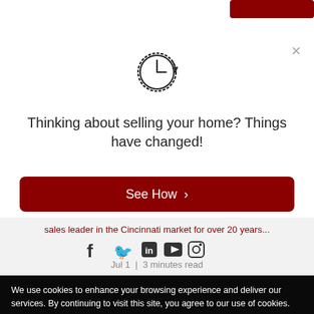[Figure (illustration): Clock/timer icon with circular arrow, center top of modal]
Thinking about selling your home? Things have changed!
See How ›
sales leader in the Cincinnati market for over 20 years...
[Figure (illustration): Social media icons row: Facebook, Twitter, LinkedIn, YouTube, Instagram]
Jul 1  |  3 minutes read
We use cookies to enhance your browsing experience and deliver our services. By continuing to visit this site, you agree to our use of cookies. More info
OK